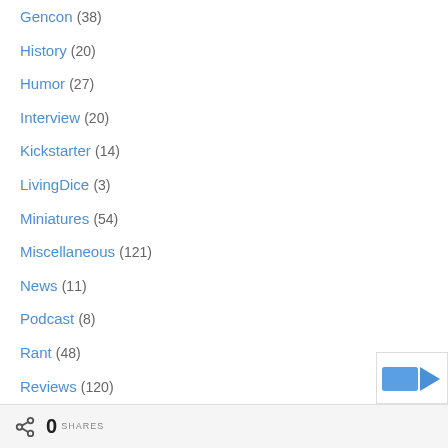Gencon (38)
History (20)
Humor (27)
Interview (20)
Kickstarter (14)
LivingDice (3)
Miniatures (54)
Miscellaneous (121)
News (11)
Podcast (8)
Rant (48)
Reviews (120)
Role-Playing Games (386)
0 SHARES